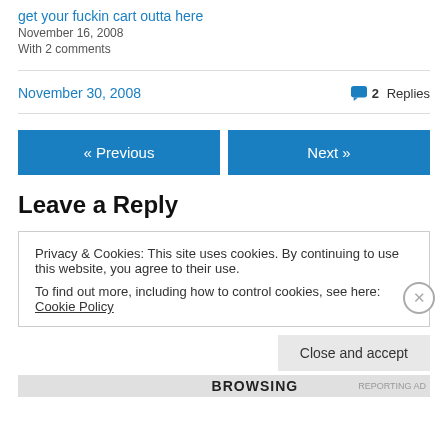get your fuckin cart outta here
November 16, 2008
With 2 comments
November 30, 2008 · 2 Replies
« Previous   Next »
Leave a Reply
Privacy & Cookies: This site uses cookies. By continuing to use this website, you agree to their use.
To find out more, including how to control cookies, see here: Cookie Policy
Close and accept